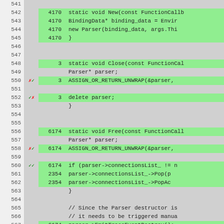[Figure (screenshot): Code coverage view showing lines 542-567 of a C++ source file. Line numbers on left, branch indicators, hit counts, and code text with green highlighting for covered lines and gray for uncovered lines.]